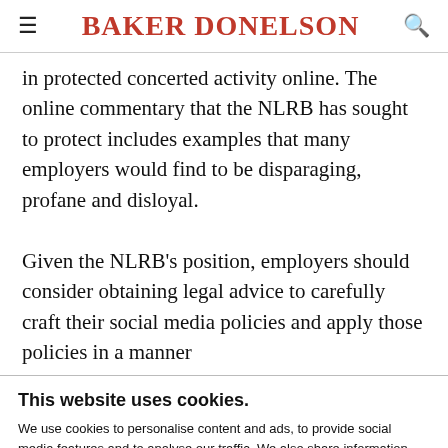BAKER DONELSON
in protected concerted activity online. The online commentary that the NLRB has sought to protect includes examples that many employers would find to be disparaging, profane and disloyal.

Given the NLRB's position, employers should consider obtaining legal advice to carefully craft their social media policies and apply those policies in a manner
This website uses cookies.
We use cookies to personalise content and ads, to provide social media features and to analyse our traffic. We also share information about your use of our site with our social media, advertising and analytics partners who may combine it with other information that you've provided to them or that they've collected from your use of their services. You consent to our cookies if you continue to use our website.